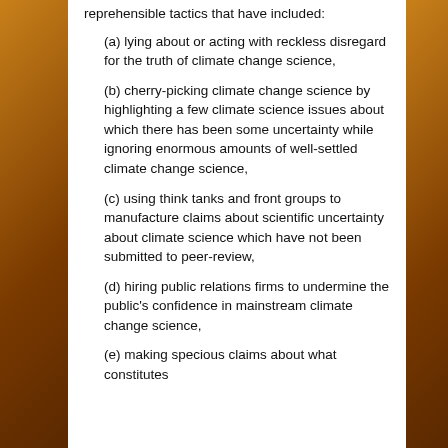reprehensible tactics that have included:
(a) lying about or acting with reckless disregard for the truth of climate change science,
(b) cherry-picking climate change science by highlighting a few climate science issues about which there has been some uncertainty while ignoring enormous amounts of well-settled climate change science,
(c) using think tanks and front groups to manufacture claims about scientific uncertainty about climate science which have not been submitted to peer-review,
(d) hiring public relations firms to undermine the public's confidence in mainstream climate change science,
(e) making specious claims about what constitutes